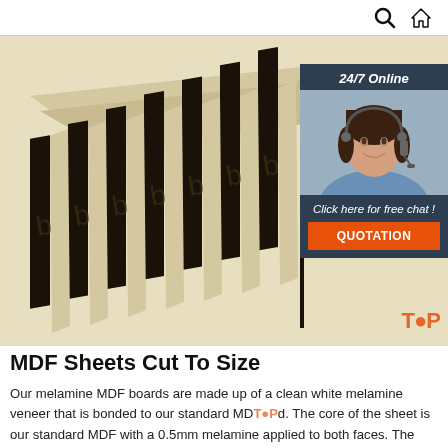Search | Home
[Figure (photo): Stack of MDF/plywood sheets with black film faces and light wood edges, shown at an angle. Overlaid with a 24/7 Online customer service chat widget featuring a woman with a headset, a 'Click here for free chat!' message, and an orange QUOTATION button. A partial 'TOP' watermark appears at lower right.]
MDF Sheets Cut To Size
Our melamine MDF boards are made up of a clean white melamine veneer that is bonded to our standard MDF board. The core of the sheet is our standard MDF with a 0.5mm melamine applied to both faces. The result of this is a sleek,